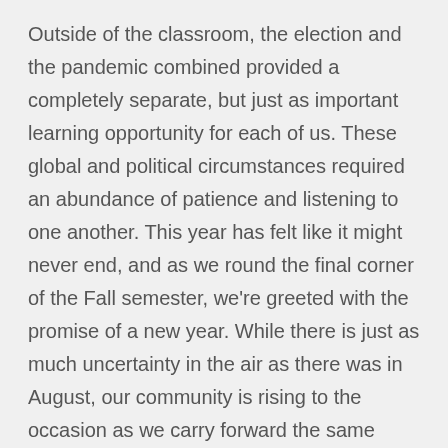Outside of the classroom, the election and the pandemic combined provided a completely separate, but just as important learning opportunity for each of us. These global and political circumstances required an abundance of patience and listening to one another. This year has felt like it might never end, and as we round the final corner of the Fall semester, we're greeted with the promise of a new year. While there is just as much uncertainty in the air as there was in August, our community is rising to the occasion as we carry forward the same optimism, respect, and care that we bring to each semester. As we set our sights on the next horizon, may we apply diligence, kindness, and healing to the goals we set today, and all the days to come.